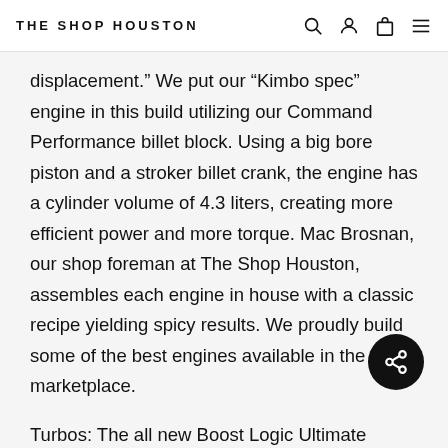THE SHOP HOUSTON
displacement.” We put our “Kimbo spec” engine in this build utilizing our Command Performance billet block. Using a big bore piston and a stroker billet crank, the engine has a cylinder volume of 4.3 liters, creating more efficient power and more torque. Mac Brosnan, our shop foreman at The Shop Houston, assembles each engine in house with a classic recipe yielding spicy results. We proudly build some of the best engines available in the GTR marketplace.
Turbos: The all new Boost Logic Ultimate Turbo Kit is what feeds this engine all of the